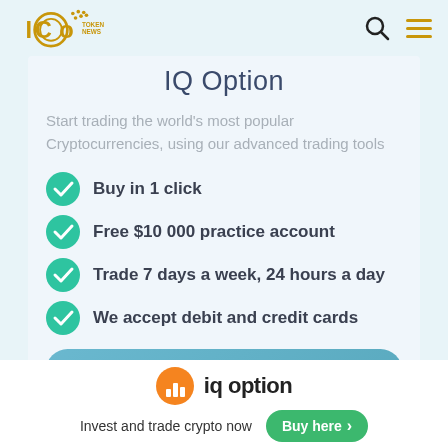ICO Token News
IQ Option
Start trading the world's most popular Cryptocurrencies, using our advanced trading tools
Buy in 1 click
Free $10 000 practice account
Trade 7 days a week, 24 hours a day
We accept debit and credit cards
Open Your Free Demo Account →
[Figure (logo): IQ Option orange circle logo with bar chart icon]
iq option
Invest and trade crypto now
Buy here >